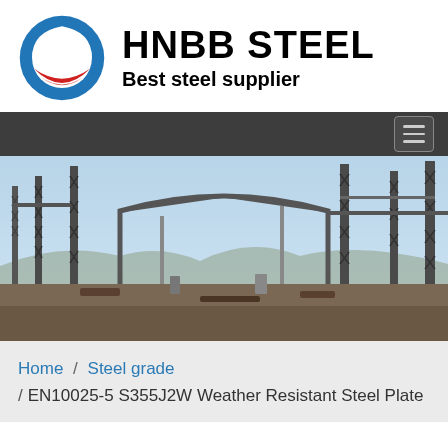[Figure (logo): HNBB STEEL logo with circular blue and red emblem and text 'HNBB STEEL' and 'Best steel supplier']
[Figure (photo): Construction site with large steel structural framework under a clear sky]
Home / Steel grade / EN10025-5 S355J2W Weather Resistant Steel Plate